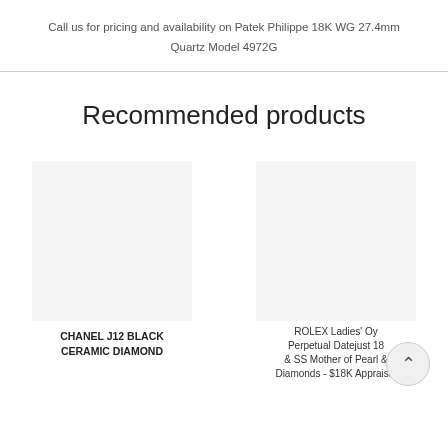Call us for pricing and availability on Patek Philippe 18K WG 27.4mm Quartz Model 4972G
Recommended products
CHANEL J12 BLACK CERAMIC DIAMOND
ROLEX Ladies' Oyster Perpetual Datejust 18K & SS Mother of Pearl & Diamonds - $18K Appraisal